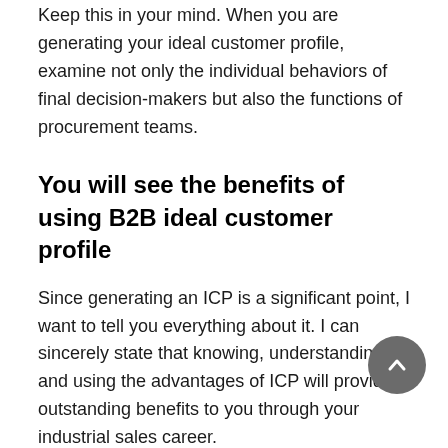Keep this in your mind. When you are generating your ideal customer profile, examine not only the individual behaviors of final decision-makers but also the functions of procurement teams.
You will see the benefits of using B2B ideal customer profile
Since generating an ICP is a significant point, I want to tell you everything about it. I can sincerely state that knowing, understanding, and using the advantages of ICP will provide outstanding benefits to you through your industrial sales career.
An ideal customer is a company that may purchase